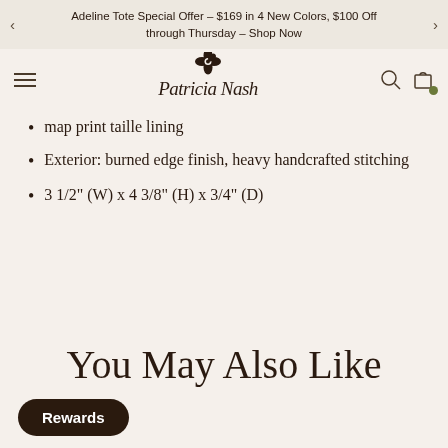Adeline Tote Special Offer – $169 in 4 New Colors, $100 Off through Thursday – Shop Now
[Figure (logo): Patricia Nash brand logo with floral motif and script text]
map print taille lining
Exterior: burned edge finish, heavy handcrafted stitching
3 1/2" (W) x 4 3/8" (H) x 3/4" (D)
You May Also Like
Rewards